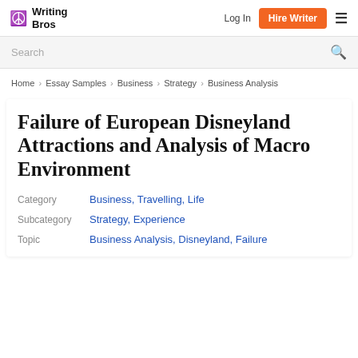Writing Bros | Log In | Hire Writer
Search
Home > Essay Samples > Business > Strategy > Business Analysis
Failure of European Disneyland Attractions and Analysis of Macro Environment
Category: Business, Travelling, Life
Subcategory: Strategy, Experience
Topic: Business Analysis, Disneyland, Failure